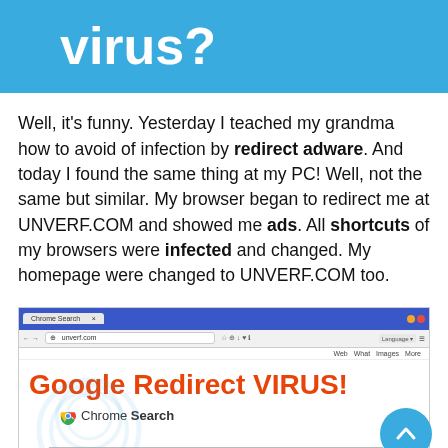virus?
Well, it's funny. Yesterday I teached my grandma how to avoid of infection by redirect adware. And today I found the same thing at my PC! Well, not the same but similar. My browser began to redirect me at UNVERF.COM and showed me ads. All shortcuts of my browsers were infected and changed. My homepage were changed to UNVERF.COM too.
[Figure (screenshot): Screenshot of a browser showing the UNVERF.COM website with a 'Google Redirect VIRUS!' warning message in orange, Chrome Search logo and search bar below.]